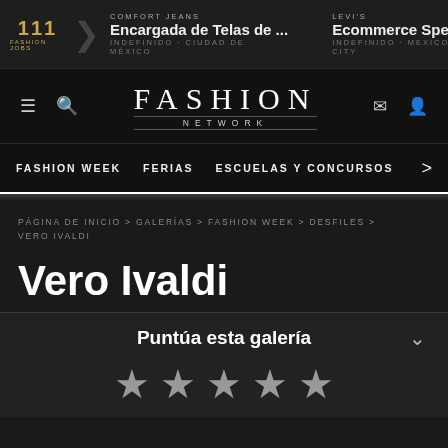111 FASHION JOBS | COMFORT JEANS — Encargada de Telas de ... INDEFINIDO - CIUDAD DE MÉXICO | LEVI'S — Ecommerce Spec INDEFINIDO - MEXICO CITY
[Figure (logo): Fashion Network logo with hamburger menu, search icon, envelope icon, and user icon]
FASHION WEEK   FERIAS   ESCUELAS Y CONCURSOS
PÁGINA DE INICIO > GALERÍAS > FASHION WEEK > DESFILES > VERO IVALDI
Vero Ivaldi
Puntúa esta galería
[Figure (other): Five star rating icons (empty/outline stars)]